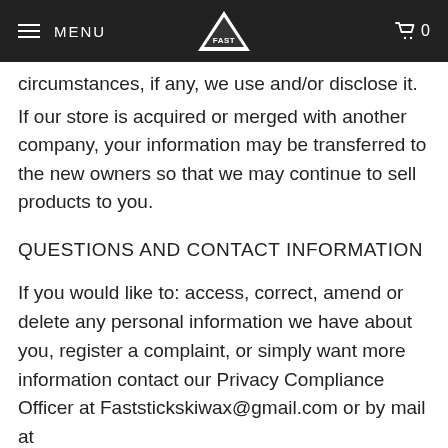MENU | FAST STIK | 0
are aware of what information we collect, how we use it, and under what circumstances, if any, we use and/or disclose it.
If our store is acquired or merged with another company, your information may be transferred to the new owners so that we may continue to sell products to you.
QUESTIONS AND CONTACT INFORMATION
If you would like to: access, correct, amend or delete any personal information we have about you, register a complaint, or simply want more information contact our Privacy Compliance Officer at Faststickskiwax@gmail.com or by mail at